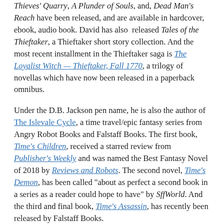Thieves' Quarry, A Plunder of Souls, and, Dead Man's Reach have been released, and are available in hardcover, ebook, audio book. David has also released Tales of the Thieftaker, a Thieftaker short story collection. And the most recent installment in the Thieftaker saga is The Loyalist Witch — Thieftaker, Fall 1770, a trilogy of novellas which have now been released in a paperback omnibus.
Under the D.B. Jackson pen name, he is also the author of The Islevale Cycle, a time travel/epic fantasy series from Angry Robot Books and Falstaff Books. The first book, Time's Children, received a starred review from Publisher's Weekly and was named the Best Fantasy Novel of 2018 by Reviews and Robots. The second novel, Time's Demon, has been called "about as perfect a second book in a series as a reader could hope to have" by SffWorld. And the third and final book, Time's Assassin, has recently been released by Falstaff Books.
As David B. Coe, he has most recently published a